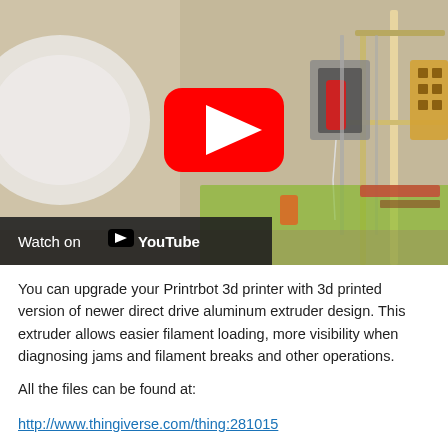[Figure (screenshot): YouTube video thumbnail showing a 3D printer (Printrbot) with extruder mechanism on a workbench with tools. A large red YouTube play button is visible in the center. A dark overlay bar at the bottom left reads 'Watch on YouTube'.]
You can upgrade your Printrbot 3d printer with 3d printed version of newer direct drive aluminum extruder design. This extruder allows easier filament loading, more visibility when diagnosing jams and filament breaks and other operations.
All the files can be found at:
http://www.thingiverse.com/thing:281015